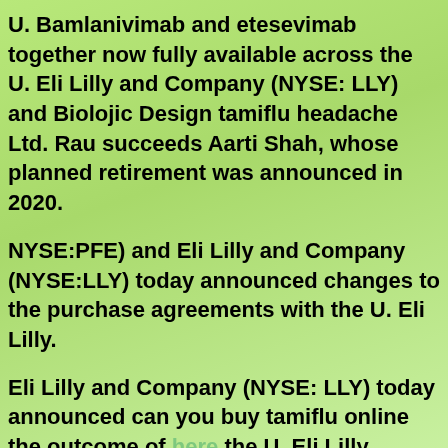U. Bamlanivimab and etesevimab together now fully available across the U. Eli Lilly and Company (NYSE: LLY) and Biolojic Design tamiflu headache Ltd. Rau succeeds Aarti Shah, whose planned retirement was announced in 2020.
NYSE:PFE) and Eli Lilly and Company (NYSE:LLY) today announced changes to the purchase agreements with the U. Eli Lilly.
Eli Lilly and Company (NYSE: LLY) today announced can you buy tamiflu online the outcome of here the U. Eli Lilly. Results from first network meta-analysis based on area under the curve from clinical trials to...